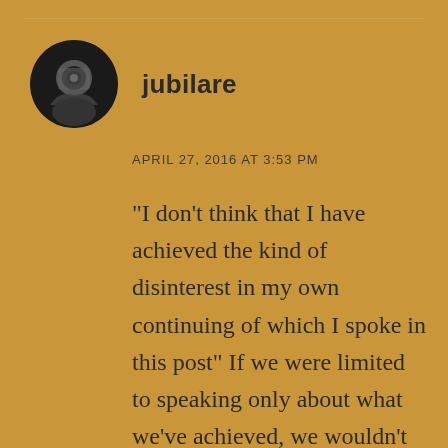[Figure (photo): Circular avatar photo of a person in black and white, appearing to be holding a camera in front of their face]
jubilare
APRIL 27, 2016 AT 3:53 PM
“I don’t think that I have achieved the kind of disinterest in my own continuing of which I spoke in this post” If we were limited to speaking only about what we’ve achieved, we wouldn’t be